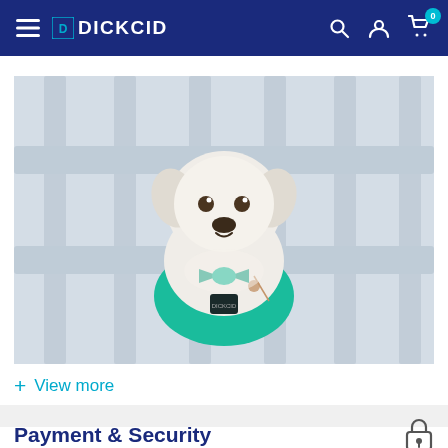DICKCID
[Figure (photo): White fluffy dog wearing a teal/green bow tie harness with a small tag, sitting behind white fence railings]
+ View more
Payment & Security